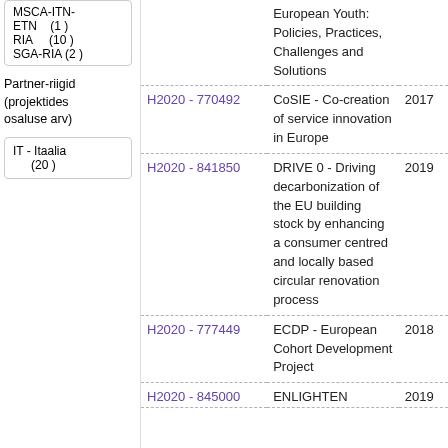|  |  |
| --- | --- |
| MSCA-ITN-ETN (1) | RIA (10) | SGA-RIA (2) |
Partner-riigid (projektides osaluse arv)
|  |
| --- |
| IT - Itaalia (20) |
| Grant | Title | Year |
| --- | --- | --- |
| H2020 - 770492 | CoSIE - Co-creation of service innovation in Europe | 2017 |
| H2020 - 841850 | DRIVE 0 - Driving decarbonization of the EU building stock by enhancing a consumer centred and locally based circular renovation process | 2019 |
| H2020 - 777449 | ECDP - European Cohort Development Project | 2018 |
| H2020 - 845000 | ENLIGHTEN | 2019 |